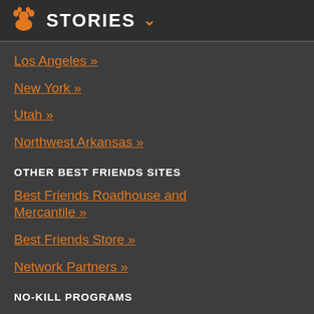STORIES
Los Angeles »
New York »
Utah »
Northwest Arkansas »
OTHER BEST FRIENDS SITES
Best Friends Roadhouse and Mercantile »
Best Friends Store »
Network Partners »
NO-KILL PROGRAMS
No-Kill Los Angeles (NKLA) »
No-Kill Utah (NKUT) »